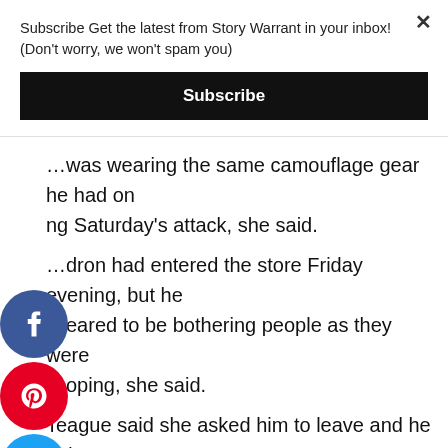Subscribe Get the latest from Story Warrant in your inbox! (Don't worry, we won't spam you)
Subscribe
was wearing the same camouflage gear he had on ng Saturday's attack, she said.
dron had entered the store Friday evening, but he eared to be bothering people as they were oping, she said.
Teague said she asked him to leave and he did so.